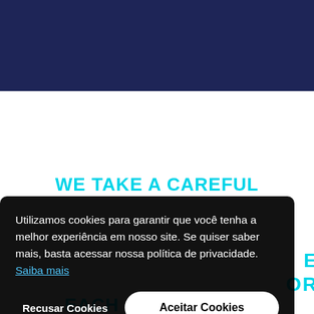[Figure (other): Dark navy blue header background rectangle at top of page]
WE TAKE A CAREFUL
Utilizamos cookies para garantir que você tenha a melhor experiência em nosso site. Se quiser saber mais, basta acessar nossa política de privacidade. Saiba mais
Recusar Cookies    Aceitar Cookies
E OR EACH ALLOCATION